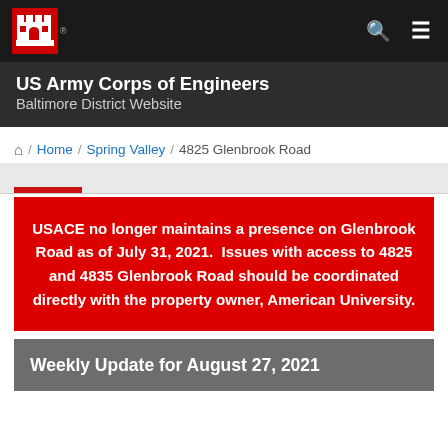US Army Corps of Engineers Baltimore District Website
Home / Spring Valley / 4825 Glenbrook Road
USACE no longer maintains a presence on Glenbrook Road as of July 31, 2021.  Issues with access to 4825 and 4835 Glenbrook Road should be coordinated directly with the property owner, American University.
Weekly Update for August 27, 2021